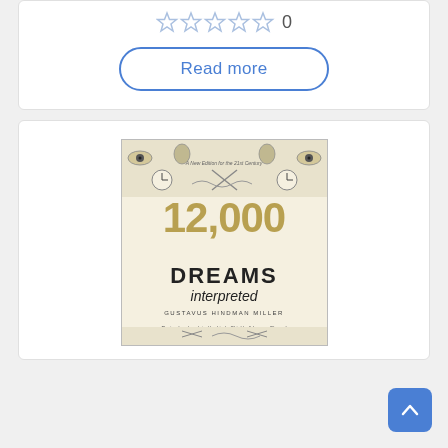[Figure (other): Five empty star rating icons in a row followed by the number 0]
Read more
[Figure (photo): Book cover of '12,000 Dreams Interpreted' by Gustavus Hindman Miller, revised and updated by Linda Shields and Lenore Skomal. Features decorative vintage illustrations of eyes, clocks, scissors and other objects around the border, with large gold numerals '12,000' and bold text 'DREAMS interpreted' on a cream background.]